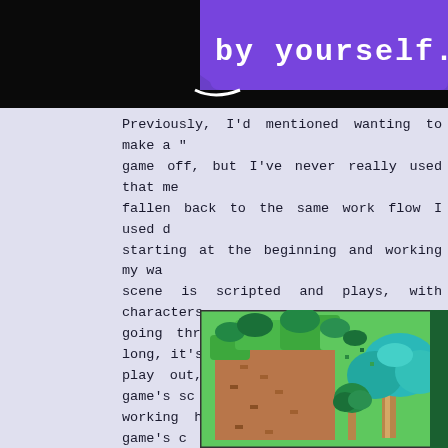[Figure (screenshot): Purple banner with pixel-art style text reading 'by yourself.' on a dark background]
Previously, I'd mentioned wanting to make a "...game off, but I've never really used that me...fallen back to the same work flow I used d...starting at the beginning and working my wa...scene is scripted and plays, with characters ...going through their dialog. After so long, it's...play out, especially since the last game's sc...working hard to make sure that the game's c...makes it easy to generate and tweak the cont...can make the absolute most of my time.
[Figure (screenshot): Pixel art game screenshot showing a top-down RPG map with green fields, brown dirt paths, and pixel trees with teal/cyan foliage]